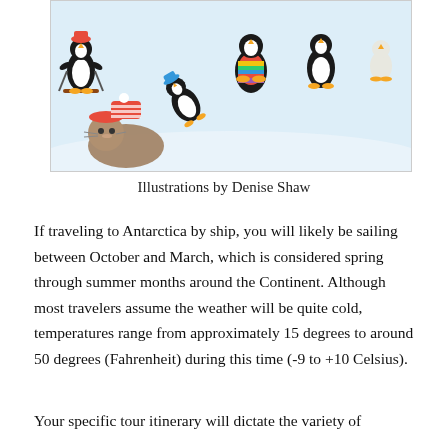[Figure (illustration): Illustration of penguins and a seal playing in snow — one penguin skiing, one sliding, one in a colorful striped sweater, others walking; a seal wearing a striped hat in the foreground, snowy Antarctic scene.]
Illustrations by Denise Shaw
If traveling to Antarctica by ship, you will likely be sailing between October and March, which is considered spring through summer months around the Continent. Although most travelers assume the weather will be quite cold, temperatures range from approximately 15 degrees to around 50 degrees (Fahrenheit) during this time (-9 to +10 Celsius).
Your specific tour itinerary will dictate the variety of